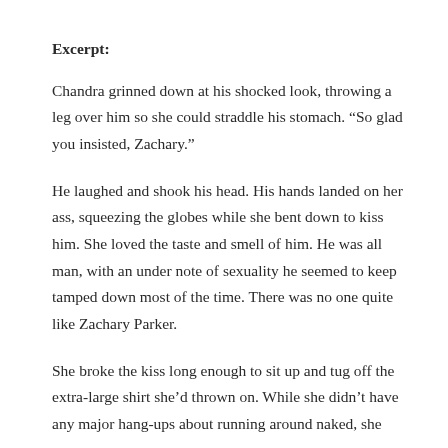Excerpt:
Chandra grinned down at his shocked look, throwing a leg over him so she could straddle his stomach. “So glad you insisted, Zachary.”
He laughed and shook his head. His hands landed on her ass, squeezing the globes while she bent down to kiss him. She loved the taste and smell of him. He was all man, with an under note of sexuality he seemed to keep tamped down most of the time. There was no one quite like Zachary Parker.
She broke the kiss long enough to sit up and tug off the extra-large shirt she’d thrown on. While she didn’t have any major hang-ups about running around naked, she